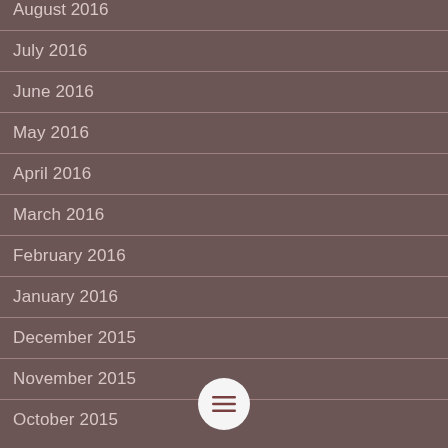August 2016
July 2016
June 2016
May 2016
April 2016
March 2016
February 2016
January 2016
December 2015
November 2015
October 2015